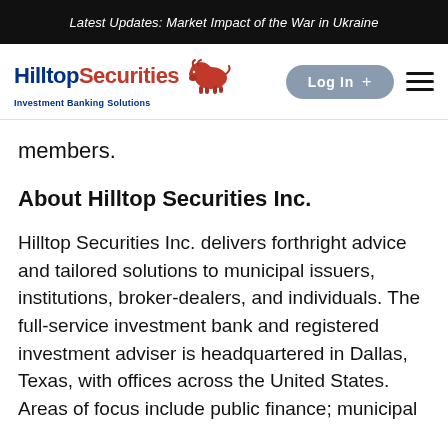Latest Updates: Market Impact of the War in Ukraine
[Figure (logo): Hilltop Securities logo with bison illustration and tagline 'Investment Banking Solutions']
members.
About Hilltop Securities Inc.
Hilltop Securities Inc. delivers forthright advice and tailored solutions to municipal issuers, institutions, broker-dealers, and individuals. The full-service investment bank and registered investment adviser is headquartered in Dallas, Texas, with offices across the United States. Areas of focus include public finance; municipal